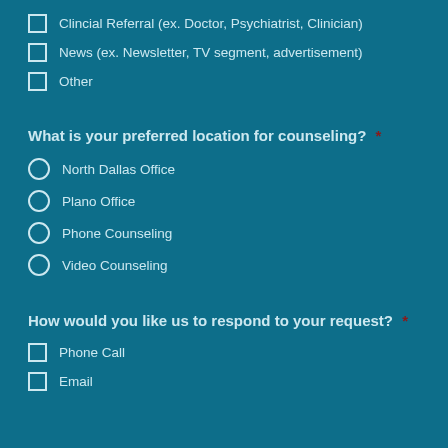Clincial Referral (ex. Doctor, Psychiatrist, Clinician)
News (ex. Newsletter, TV segment, advertisement)
Other
What is your preferred location for counseling? *
North Dallas Office
Plano Office
Phone Counseling
Video Counseling
How would you like us to respond to your request? *
Phone Call
Email